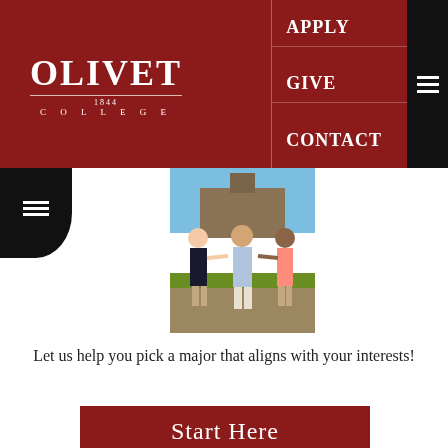[Figure (logo): Olivet College logo with 'OLIVET' in large white serif text and '1844 COLLEGE' underneath, on dark red background]
APPLY
GIVE
CONTACT
[Figure (photo): Three students standing outdoors in front of a college building on a sunny day, pointing outward]
Let us help you pick a major that aligns with your interests!
Start Here